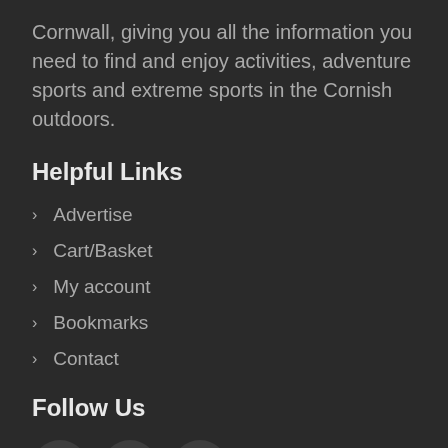Cornwall, giving you all the information you need to find and enjoy activities, adventure sports and extreme sports in the Cornish outdoors.
Helpful Links
> Advertise
> Cart/Basket
> My account
> Bookmarks
> Contact
Follow Us
[Figure (other): Three social media icon circles: Facebook (f), Instagram (camera), Twitter (bird)]